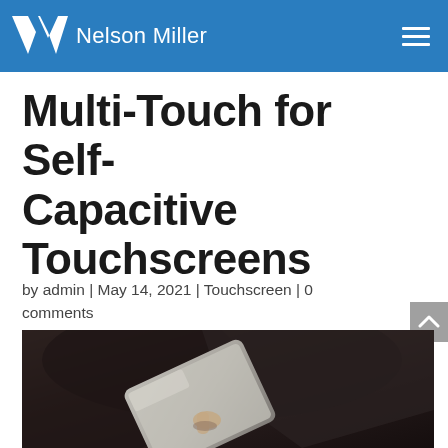Nelson Miller
Multi-Touch for Self-Capacitive Touchscreens
by admin | May 14, 2021 | Touchscreen | 0 comments
[Figure (photo): Person in dark suit jacket using finger to interact with a tablet device, viewed from above at an angle]